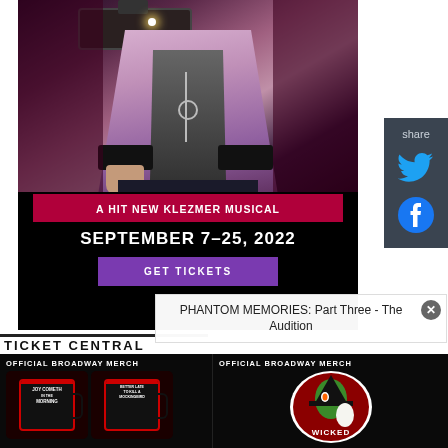[Figure (photo): Theater advertisement showing a performer in a white/purple coat with a red banner reading 'A HIT NEW KLEZMER MUSICAL' and dates 'SEPTEMBER 7-25, 2022' with a GET TICKETS button]
A HIT NEW KLEZMER MUSICAL
SEPTEMBER 7-25, 2022
GET TICKETS
[Figure (screenshot): Share panel with Twitter and Facebook icons on dark grey background]
share
TICKET CENTRAL
[Figure (photo): Official Broadway Merch advertisement showing Joy Cometh and To Kill a Mockingbird mugs on black background]
OFFICIAL BROADWAY MERCH
[Figure (photo): Official Broadway Merch advertisement showing Wicked logo on white circular background]
OFFICIAL BROADWAY MERCH
PHANTOM MEMORIES: Part Three - The Audition